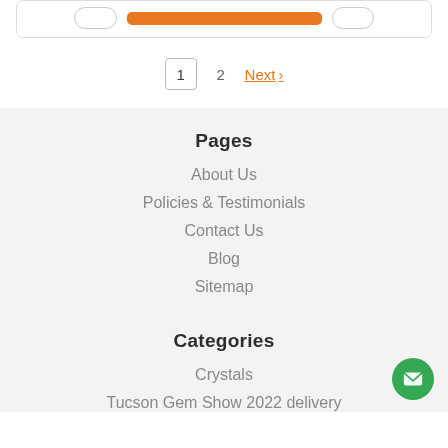[Figure (screenshot): Top navigation bar partial view with orange button and rounded rectangle border]
1   2   Next >
Pages
About Us
Policies & Testimonials
Contact Us
Blog
Sitemap
Categories
Crystals
Tucson Gem Show 2022 delivery